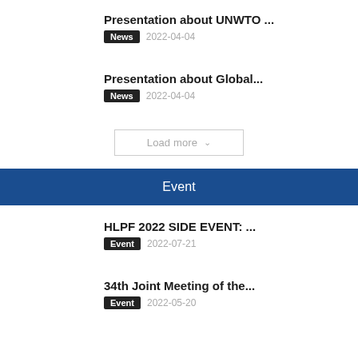Presentation about UNWTO ...
News  2022-04-04
Presentation about Global...
News  2022-04-04
Load more
Event
HLPF 2022 SIDE EVENT: ...
Event  2022-07-21
34th Joint Meeting of the...
Event  2022-05-20